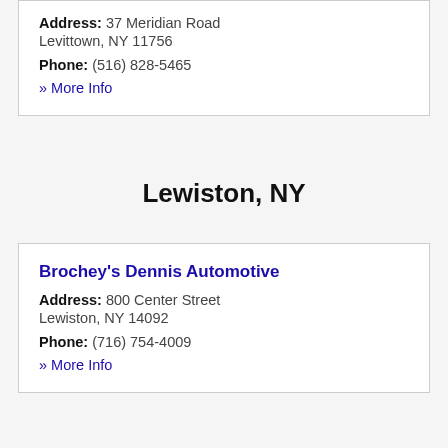Address: 37 Meridian Road Levittown, NY 11756
Phone: (516) 828-5465
» More Info
Lewiston, NY
Brochey's Dennis Automotive
Address: 800 Center Street Lewiston, NY 14092
Phone: (716) 754-4009
» More Info